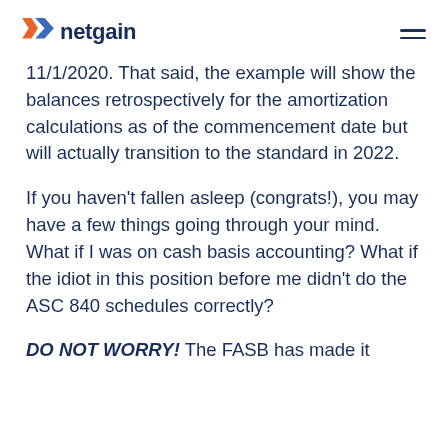netgain
11/1/2020. That said, the example will show the balances retrospectively for the amortization calculations as of the commencement date but will actually transition to the standard in 2022.
If you haven't fallen asleep (congrats!), you may have a few things going through your mind. What if I was on cash basis accounting? What if the idiot in this position before me didn't do the ASC 840 schedules correctly?
DO NOT WORRY! The FASB has made it